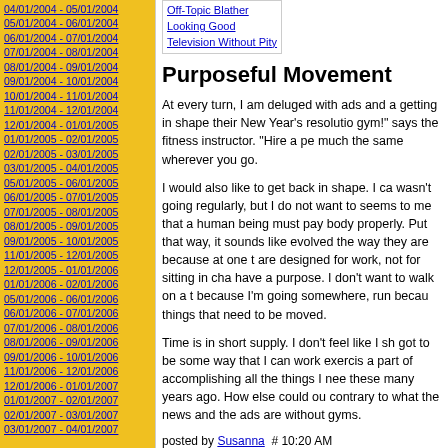04/01/2004 - 05/01/2004
05/01/2004 - 06/01/2004
06/01/2004 - 07/01/2004
07/01/2004 - 08/01/2004
08/01/2004 - 09/01/2004
09/01/2004 - 10/01/2004
10/01/2004 - 11/01/2004
11/01/2004 - 12/01/2004
12/01/2004 - 01/01/2005
01/01/2005 - 02/01/2005
02/01/2005 - 03/01/2005
03/01/2005 - 04/01/2005
05/01/2005 - 06/01/2005
06/01/2005 - 07/01/2005
07/01/2005 - 08/01/2005
08/01/2005 - 09/01/2005
09/01/2005 - 10/01/2005
11/01/2005 - 12/01/2005
12/01/2005 - 01/01/2006
01/01/2006 - 02/01/2006
05/01/2006 - 06/01/2006
06/01/2006 - 07/01/2006
07/01/2006 - 08/01/2006
08/01/2006 - 09/01/2006
09/01/2006 - 10/01/2006
11/01/2006 - 12/01/2006
12/01/2006 - 01/01/2007
01/01/2007 - 02/01/2007
02/01/2007 - 03/01/2007
03/01/2007 - 04/01/2007
Purposeful Movement
At every turn, I am deluged with ads and a getting in shape their New Year's resolutio gym!" says the fitness instructor. "Hire a pe much the same wherever you go.
I would also like to get back in shape. I ca wasn't going regularly, but I do not want to seems to me that a human being must pay body properly. Put that way, it sounds like evolved the way they are because at one t are designed for work, not for sitting in cha have a purpose. I don't want to walk on a t because I'm going somewhere, run becau things that need to be moved.
Time is in short supply. I don't feel like I sh got to be some way that I can work exercis a part of accomplishing all the things I nee these many years ago. How else could ou contrary to what the news and the ads are without gyms.
posted by Susanna  # 10:20 AM